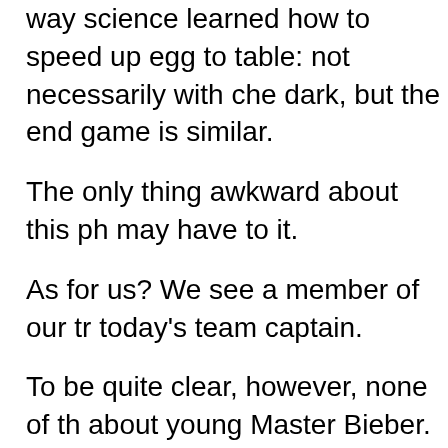way science learned how to speed up egg to table: not necessarily with che dark, but the end game is similar.
The only thing awkward about this ph may have to it.
As for us? We see a member of our tr today's team captain.
To be quite clear, however, none of th about young Master Bieber. Except n coupled with that particular title, we've quickly for effect.
We love her determination, her scruffy proximity to at least 14 separate thing Just in case concerned parents think completely devoid of all sense.